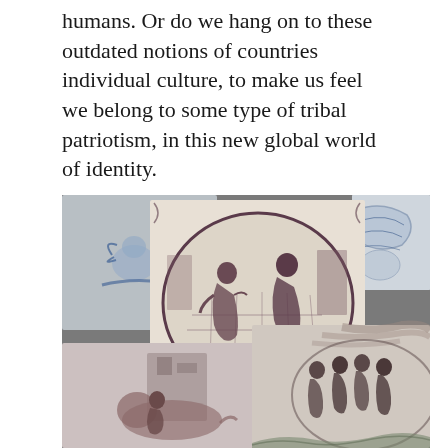humans. Or do we hang on to these outdated notions of countries individual culture, to make us feel we belong to some type of tribal patriotism, in this new global world of identity.
[Figure (photo): A collection of antique decorative ceramic tiles with hand-painted scenes. The tiles feature classical and biblical scenes painted in purple/manganese and blue hues on white ceramic backgrounds. One tile shows two figures in a circular medallion with a checkered floor; another shows figures in a landscape with a swirling sky; another depicts a lion scene; and one shows a blue cherub figure. The tiles are stacked and overlapping.]